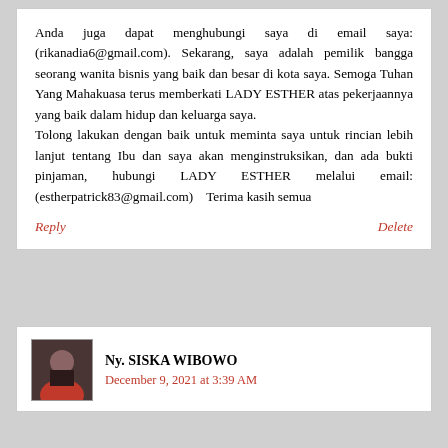Anda juga dapat menghubungi saya di email saya: (rikanadia6@gmail.com). Sekarang, saya adalah pemilik bangga seorang wanita bisnis yang baik dan besar di kota saya. Semoga Tuhan Yang Mahakuasa terus memberkati LADY ESTHER atas pekerjaannya yang baik dalam hidup dan keluarga saya.
Tolong lakukan dengan baik untuk meminta saya untuk rincian lebih lanjut tentang Ibu dan saya akan menginstruksikan, dan ada bukti pinjaman, hubungi LADY ESTHER melalui email: (estherpatrick83@gmail.com) Terima kasih semua
Reply
Delete
Ny. SISKA WIBOWO
December 9, 2021 at 3:39 AM